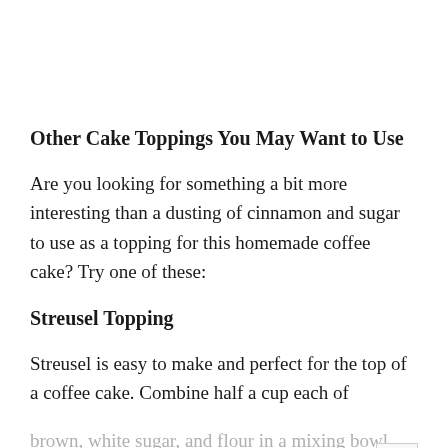Other Cake Toppings You May Want to Use
Are you looking for something a bit more interesting than a dusting of cinnamon and sugar to use as a topping for this homemade coffee cake? Try one of these:
Streusel Topping
Streusel is easy to make and perfect for the top of a coffee cake. Combine half a cup each of brown, white sugar, and flour in a mixing bowl. Stir in a pinch of salt and a teaspoon of a